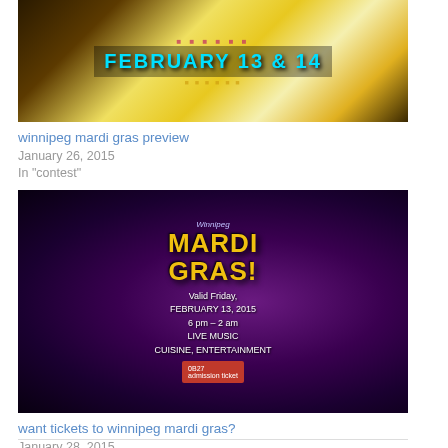[Figure (photo): Photo of a Mardi Gras event promotional display with colorful tinsel/fringe decorations and text reading FEBRUARY 13 & 14]
winnipeg mardi gras preview
January 26, 2015
In "contest"
[Figure (photo): Photo of Winnipeg Mardi Gras event ticket/flyer on a black leather surface with green Mardi Gras beads, showing text: MARDI GRAS!, Valid Friday, February 13, 2015, 6pm-2am, Live Music, Cuisine, Entertainment]
want tickets to winnipeg mardi gras?
January 28, 2015
In "contest"